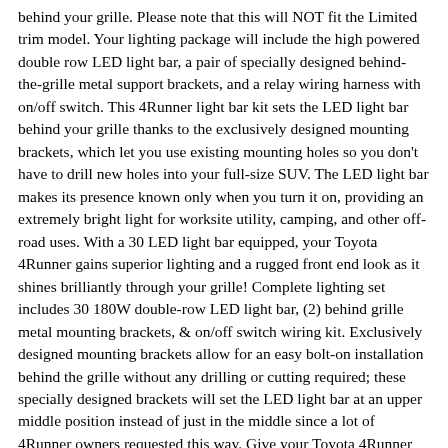behind your grille. Please note that this will NOT fit the Limited trim model. Your lighting package will include the high powered double row LED light bar, a pair of specially designed behind-the-grille metal support brackets, and a relay wiring harness with on/off switch. This 4Runner light bar kit sets the LED light bar behind your grille thanks to the exclusively designed mounting brackets, which let you use existing mounting holes so you don't have to drill new holes into your full-size SUV. The LED light bar makes its presence known only when you turn it on, providing an extremely bright light for worksite utility, camping, and other off-road uses. With a 30 LED light bar equipped, your Toyota 4Runner gains superior lighting and a rugged front end look as it shines brilliantly through your grille! Complete lighting set includes 30 180W double-row LED light bar, (2) behind grille metal mounting brackets, & on/off switch wiring kit. Exclusively designed mounting brackets allow for an easy bolt-on installation behind the grille without any drilling or cutting required; these specially designed brackets will set the LED light bar at an upper middle position instead of just in the middle since a lot of 4Runner owners requested this way. Give your Toyota 4Runner superior lighting for work site or offroad use and an aggressive front end look. IJDMTOY (MotoringMax) was founded in 2004 and has since become one of the largest automotive LED lighting retailers in the United States. We are located in Los Angeles, California and carry the most complete LED lights and accessories for all the cars and trucks. And we will do our best to assist you. Your satisfaction is